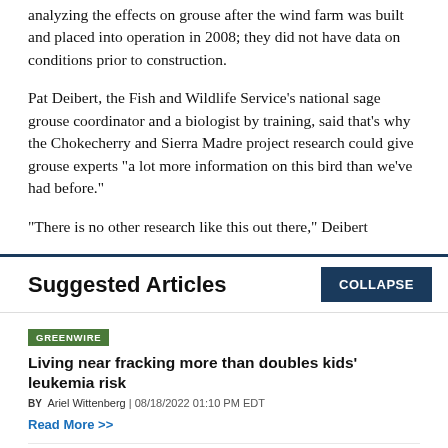analyzing the effects on grouse after the wind farm was built and placed into operation in 2008; they did not have data on conditions prior to construction.
Pat Deibert, the Fish and Wildlife Service's national sage grouse coordinator and a biologist by training, said that's why the Chokecherry and Sierra Madre project research could give grouse experts "a lot more information on this bird than we've had before."
"There is no other research like this out there," Deibert
Suggested Articles
COLLAPSE
GREENWIRE
Living near fracking more than doubles kids' leukemia risk
BY Ariel Wittenberg | 08/18/2022 01:10 PM EDT
Read More >>
GREENWIRE
Mining companies strike gold with new climate law